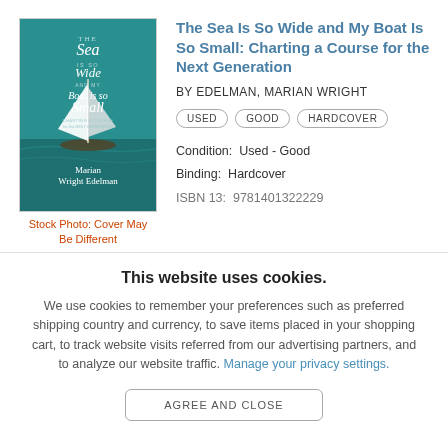[Figure (illustration): Book cover for 'The Sea Is So Wide and My Boat Is So Small' by Marian Wright Edelman, featuring a sailboat on teal water]
Stock Photo: Cover May Be Different
The Sea Is So Wide and My Boat Is So Small: Charting a Course for the Next Generation
BY EDELMAN, MARIAN WRIGHT
USED   GOOD   HARDCOVER
Condition:  Used - Good
Binding:  Hardcover
ISBN 13:  9781401322229
This website uses cookies.
We use cookies to remember your preferences such as preferred shipping country and currency, to save items placed in your shopping cart, to track website visits referred from our advertising partners, and to analyze our website traffic. Manage your privacy settings.
AGREE AND CLOSE